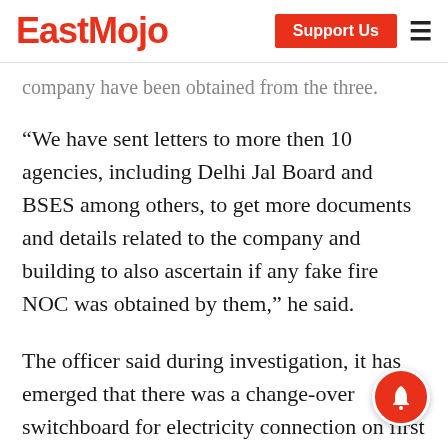EastMojo | Support Us
company have been obtained from the three.
“We have sent letters to more then 10 agencies, including Delhi Jal Board and BSES among others, to get more documents and details related to the company and building to also ascertain if any fake fire NOC was obtained by them,” he said.
The officer said during investigation, it has emerged that there was a change-over switchboard for electricity connection on first floor of the building where cardboards